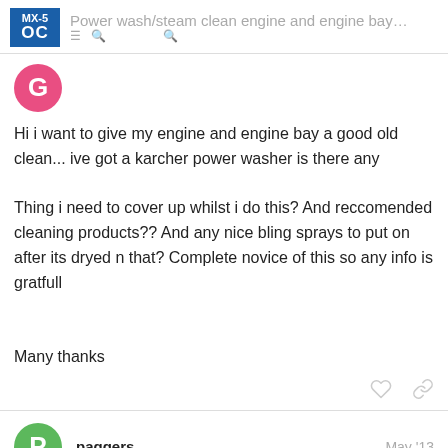Power wash/steam clean engine and engine bay…
[Figure (logo): MX-5 OC forum logo, blue square with white text]
Hi i want to give my engine and engine bay a good old clean... ive got a karcher power washer is there any

Thing i need to cover up whilst i do this? And reccomended cleaning products?? And any nice bling sprays to put on after its dryed n that? Complete novice of this so any info is gratfull

Many thanks
paggers   May '13
Best tip I can think of is to wrap carrier bags around anything that has wires and then tape them in place with electrical tape